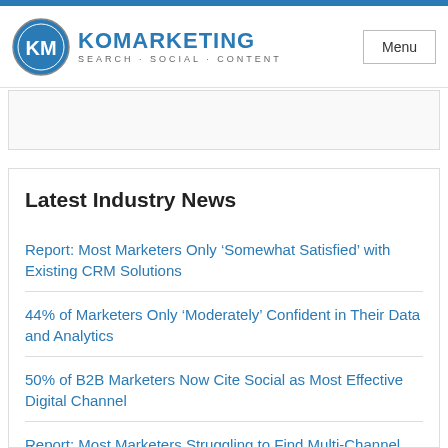KO MARKETING SEARCH · SOCIAL · CONTENT | Menu
Latest Industry News
Report: Most Marketers Only ‘Somewhat Satisfied’ with Existing CRM Solutions
44% of Marketers Only ‘Moderately’ Confident in Their Data and Analytics
50% of B2B Marketers Now Cite Social as Most Effective Digital Channel
Report: Most Marketers Struggling to Find Multi-Channel Strategy Success
Report: More B2B Buyers Seeking Free Access…